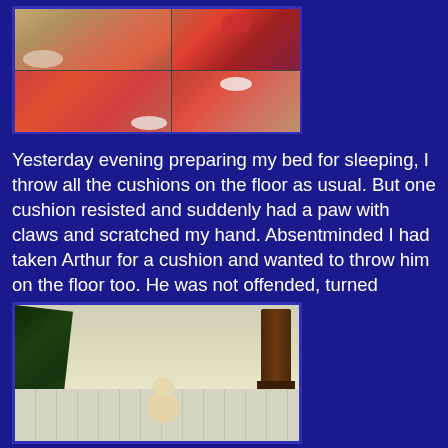[Figure (photo): Photo collage of cats in a room with cushions and colorful textiles. Four-quadrant collage showing cats resting among red cushions and patterned rugs.]
Yesterday evening preparing my bed for sleeping, I throw all the cushions on the floor as usual. But one cushion resisted and suddenly had a paw with claws and scratched my hand. Absentminded I had taken Arthur for a cushion and wanted to throw him on the floor too. He was not offended, turned around and continued to sleep.
[Figure (photo): A small white/cream cat sitting on a tiled floor, with a large leafy plant to the left and a dark wooden stand to the right.]